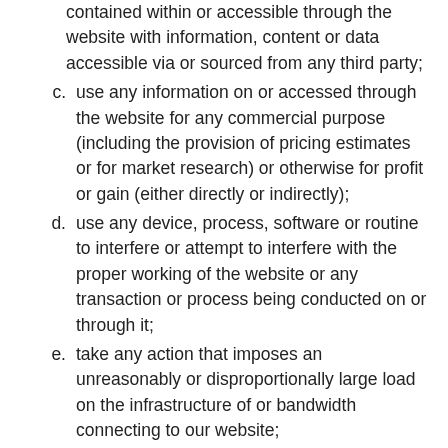contained within or accessible through the website with information, content or data accessible via or sourced from any third party;
c.  use any information on or accessed through the website for any commercial purpose (including the provision of pricing estimates or for market research) or otherwise for profit or gain (either directly or indirectly);
d.  use any device, process, software or routine to interfere or attempt to interfere with the proper working of the website or any transaction or process being conducted on or through it;
e.  take any action that imposes an unreasonably or disproportionally large load on the infrastructure of or bandwidth connecting to our website;
f.  reverse engineer, reverse assemble,